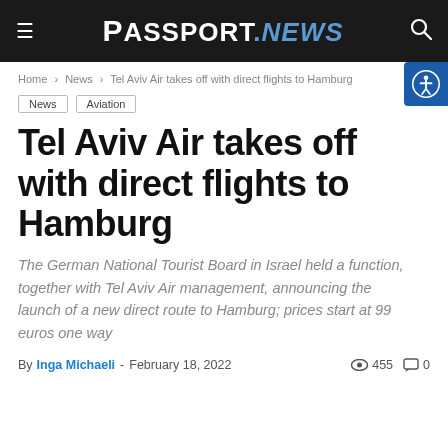Passport.NEWS
Home > News > Tel Aviv Air takes off with direct flights to Hamburg
News
Aviation
Tel Aviv Air takes off with direct flights to Hamburg
The German National Tourist Board in Israel held a function, together with Tel Aviv Air management, announcing the launch of a new direct route to Hamburg; prices start at 99 euros one way
By Inga Michaeli - February 18, 2022   455  0